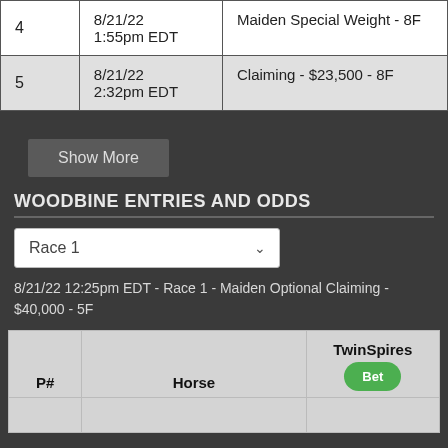|  | Date/Time | Race Type |
| --- | --- | --- |
| 4 | 8/21/22
1:55pm EDT | Maiden Special Weight - 8F |
| 5 | 8/21/22
2:32pm EDT | Claiming - $23,500 - 8F |
Show More
WOODBINE ENTRIES AND ODDS
Race 1 (dropdown)
8/21/22 12:25pm EDT - Race 1 - Maiden Optional Claiming - $40,000 - 5F
| P# | Horse | TwinSpires Bet |
| --- | --- | --- |